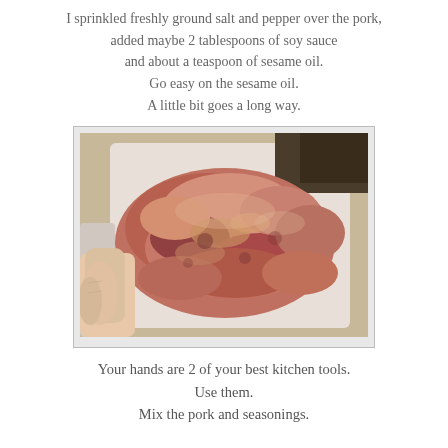I sprinkled freshly ground salt and pepper over the pork, added maybe 2 tablespoons of soy sauce and about a teaspoon of sesame oil. Go easy on the sesame oil. A little bit goes a long way.
[Figure (photo): A hand mixing raw pork pieces with seasonings in a white styrofoam tray. The pork appears coated with soy sauce and sesame oil marinade.]
Your hands are 2 of your best kitchen tools. Use them. Mix the pork and seasonings.